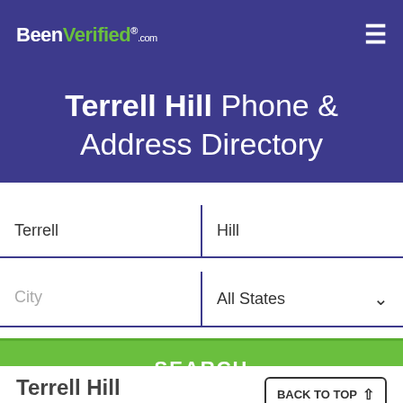BeenVerified.com
Terrell Hill Phone & Address Directory
Terrell | Hill
City | All States
SEARCH
Terrell Hill
Milwaukee, Wisconsin
BACK TO TOP ↑